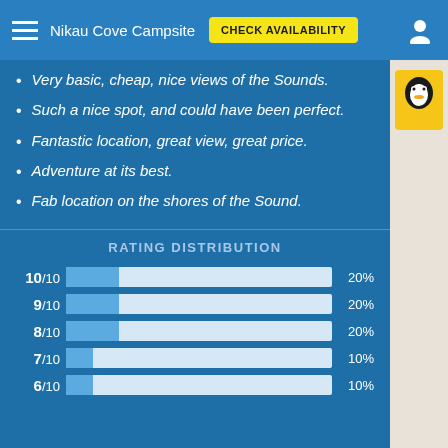Nikau Cove Campsite | CHECK AVAILABILITY
Very basic, cheap, nice views of the Sounds.
Such a nice spot, and could have been perfect.
Fantastic location, great view, great price.
Adventure at its best.
Fab location on the shores of the Sound.
[Figure (bar-chart): RATING DISTRIBUTION]